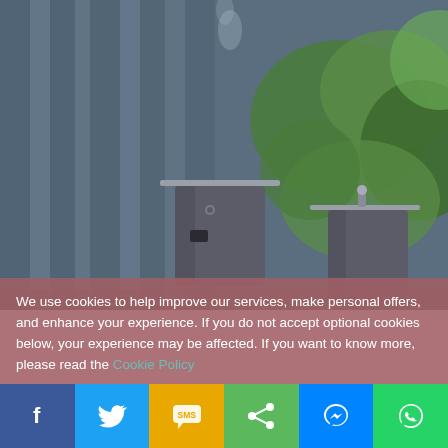[Figure (photo): Two cylindrical metal smoker/chimney devices with caps, photographed outdoors with blurred green foliage and blue-grey curtain background. Smoke is visible rising from the left device.]
We use cookies to help improve our services, make personal offers, and enhance your experience. If you do not accept optional cookies below, your experience may be affected. If you want to know more, please read the Cookie Policy
CUSTOM
[Figure (infographic): Social media share bar with six buttons: Facebook (blue), Twitter (light blue), SMS (yellow/gold), Share (green), Messenger (blue), WhatsApp (green)]